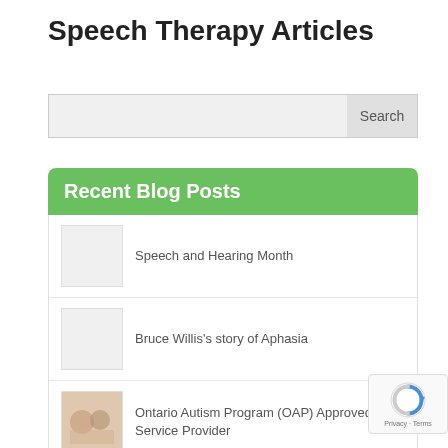Speech Therapy Articles
Search
Recent Blog Posts
Speech and Hearing Month
Bruce Willis's story of Aphasia
Ontario Autism Program (OAP) Approved Service Provider
Concussion and the Role of the Speech-Language Pathologist